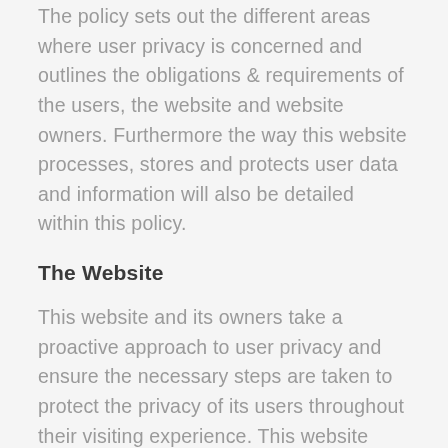The policy sets out the different areas where user privacy is concerned and outlines the obligations & requirements of the users, the website and website owners. Furthermore the way this website processes, stores and protects user data and information will also be detailed within this policy.
The Website
This website and its owners take a proactive approach to user privacy and ensure the necessary steps are taken to protect the privacy of its users throughout their visiting experience. This website complies to all UK national laws and requirements for user